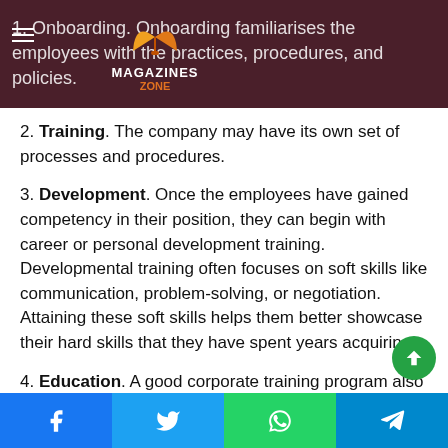1. Onboarding. Onboarding familiarises the employees with the practices, procedures, and policies.
2. Training. The company may have its own set of processes and procedures.
3. Development. Once the employees have gained competency in their position, they can begin with career or personal development training. Developmental training often focuses on soft skills like communication, problem-solving, or negotiation. Attaining these soft skills helps them better showcase their hard skills that they have spent years acquiring.
4. Education. A good corporate training program also offers